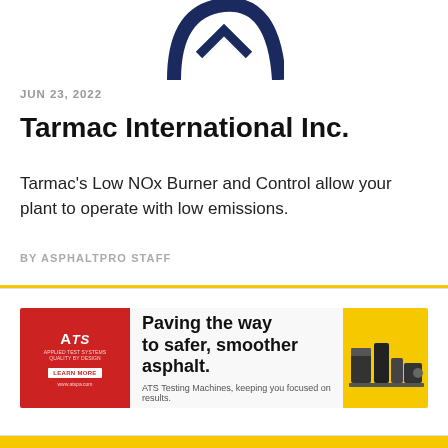[Figure (logo): Partial circular logo with navy blue color, bottom portion visible at top of page]
JUN 23, 2022
Tarmac International Inc.
Tarmac's Low NOx Burner and Control allow your plant to operate with low emissions.
BY ASPHALTPRO STAFF
[Figure (illustration): ATS (Applied Test Systems) advertisement banner. Red left panel with ATS logo and LEARN MORE button. Center panel with text: Paving the way to safer, smoother asphalt. ATS Testing Machines, keeping you focused on results. Yellow right panel with product photo of testing machines.]